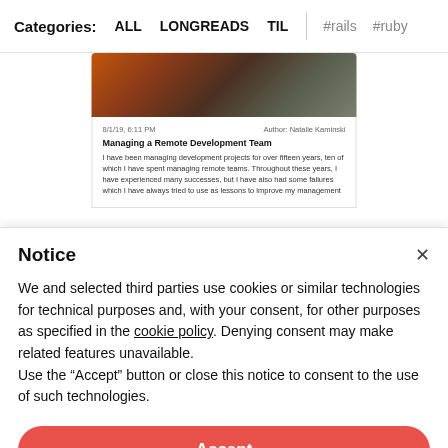Categories: ALL LONGREADS TIL #rails #ruby
[Figure (screenshot): Screenshot of a blog post card showing 'Managing a Remote Development Team' by Natalie Kaminski dated 8/1/19, 6:11 PM, with an image at top and excerpt text.]
Notice
We and selected third parties use cookies or similar technologies for technical purposes and, with your consent, for other purposes as specified in the cookie policy. Denying consent may make related features unavailable.
Use the "Accept" button or close this notice to consent to the use of such technologies.